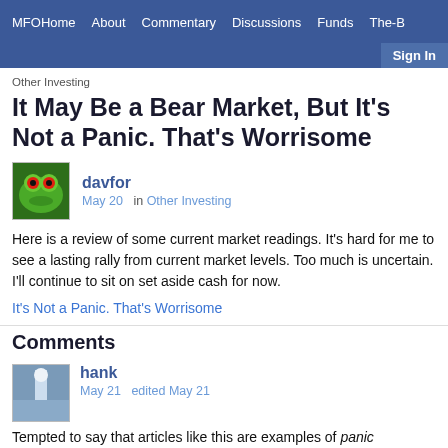MFOHome  About  Commentary  Discussions  Funds  The-B...  Sign In
Other Investing
It May Be a Bear Market, But It's Not a Panic. That's Worrisome
davfor
May 20  in Other Investing
Here is a review of some current market readings. It's hard for me to see a lasting rally from current market levels. Too much is uncertain. I'll continue to sit on set aside cash for now.
It's Not a Panic. That's Worrisome
Comments
hank
May 21   edited May 21
Tempted to say that articles like this are examples of panic themselves. That